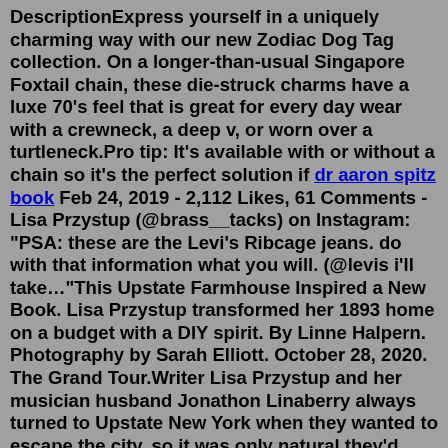DescriptionExpress yourself in a uniquely charming way with our new Zodiac Dog Tag collection. On a longer-than-usual Singapore Foxtail chain, these die-struck charms have a luxe 70's feel that is great for every day wear with a crewneck, a deep v, or worn over a turtleneck.Pro tip: It's available with or without a chain so it's the perfect solution if dr aaron spitz book Feb 24, 2019 - 2,112 Likes, 61 Comments - Lisa Przystup (@brass__tacks) on Instagram: "PSA: these are the Levi's Ribcage jeans. do with that information what you will. (@levis i'll take…"This Upstate Farmhouse Inspired a New Book. Lisa Przystup transformed her 1893 home on a budget with a DIY spirit. By Linne Halpern. Photography by Sarah Elliott. October 28, 2020. The Grand Tour.Writer Lisa Przystup and her musician husband Jonathon Linaberry always turned to Upstate New York when they wanted to escape the city, so it was only natural they'd eventually catch the real estate bug and start searching for a nook to call their